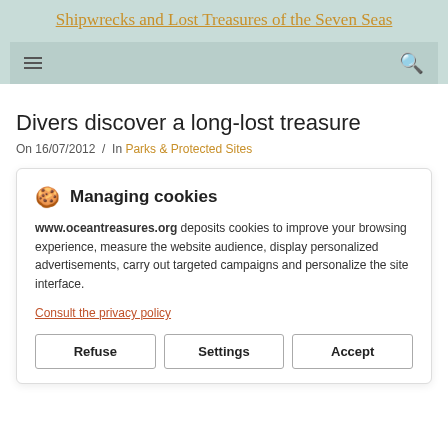Shipwrecks and Lost Treasures of the Seven Seas
Divers discover a long-lost treasure
On 16/07/2012 /  In Parks & Protected Sites
🍪  Managing cookies
www.oceantreasures.org deposits cookies to improve your browsing experience, measure the website audience, display personalized advertisements, carry out targeted campaigns and personalize the site interface.
Consult the privacy policy
Refuse  Settings  Accept